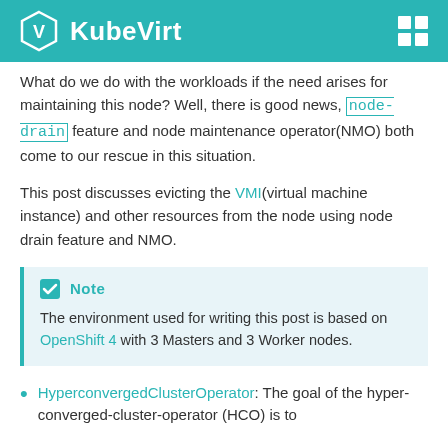KubeVirt
What do we do with the workloads if the need arises for maintaining this node? Well, there is good news, node-drain feature and node maintenance operator(NMO) both come to our rescue in this situation.
This post discusses evicting the VMI(virtual machine instance) and other resources from the node using node drain feature and NMO.
Note
The environment used for writing this post is based on OpenShift 4 with 3 Masters and 3 Worker nodes.
HyperconvergedClusterOperator: The goal of the hyper-converged-cluster-operator (HCO) is to